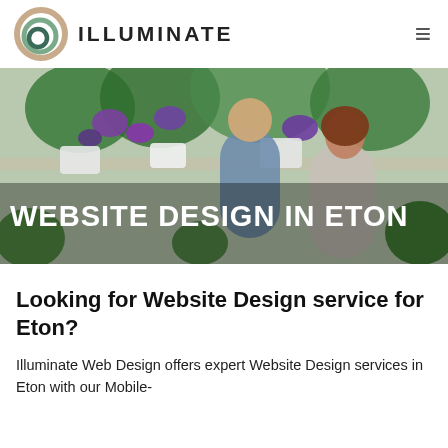ILLUMINATE
[Figure (photo): Two people (a man and a woman) arranging flowers in a flower shop with lush green and purple plants in the background. Text overlay reads: WEBSITE DESIGN IN ETON]
Looking for Website Design service for Eton?
Illuminate Web Design offers expert Website Design services in Eton with our Mobile-